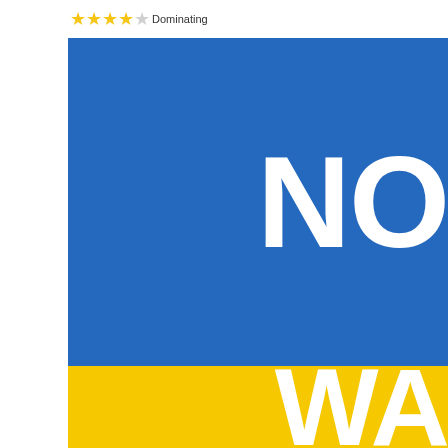[Figure (illustration): Rating stars display showing approximately 4 out of 5 stars (yellow filled stars with last one partially filled/grey), labeled 'Dominating' below the stars. Below is a large blue rectangle with white bold text starting with 'NO' (cropped), and a yellow rectangle below with white bold text starting with 'WA' (cropped).]